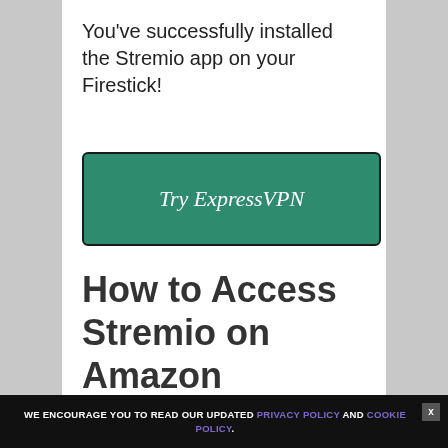You've successfully installed the Stremio app on your Firestick!
[Figure (other): Green 'Try ExpressVPN' button with dark border]
How to Access Stremio on Amazon FireStick
WE ENCOURAGE YOU TO READ OUR UPDATED PRIVACY POLICY AND COOKIE POLICY.